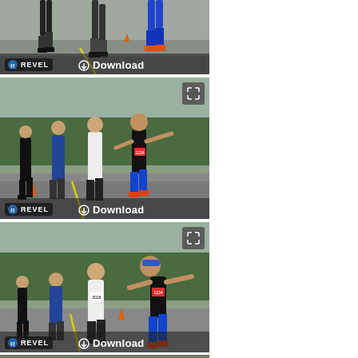[Figure (photo): Race photo showing runners' legs on a road, partial view, with orange traffic cones. REVEL logo and Download button overlay at bottom.]
[Figure (photo): Race photo showing multiple runners on a road with forest background. One runner in black tank and blue shorts with arms spread wide. REVEL logo and Download button overlay. Expand icon top right.]
[Figure (photo): Race photo showing multiple runners on a road with forest background, closer view of runners including one in blue shorts with arms spread. REVEL logo and Download button overlay. Expand icon top right.]
[Figure (photo): Partial race photo at bottom showing runners on road with forest, partially visible.]